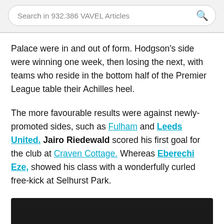Search in 932.386 VAVEL Articles
Palace were in and out of form. Hodgson's side were winning one week, then losing the next, with teams who reside in the bottom half of the Premier League table their Achilles heel.
The more favourable results were against newly-promoted sides, such as Fulham and Leeds United. Jairo Riedewald scored his first goal for the club at Craven Cottage. Whereas Eberechi Eze, showed his class with a wonderfully curled free-kick at Selhurst Park.
[Figure (photo): Dark/black image strip at the bottom of the page]